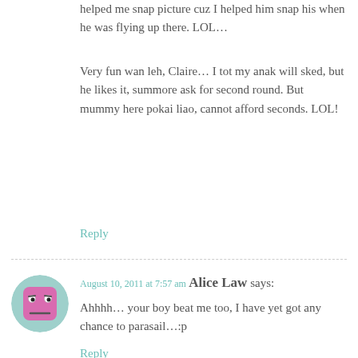helped me snap picture cuz I helped him snap his when he was flying up there. LOL…
Very fun wan leh, Claire… I tot my anak will sked, but he likes it, summore ask for second round. But mummy here pokai liao, cannot afford seconds. LOL!
Reply
[Figure (photo): Avatar of Alice Law - pink cartoon face with angry expression on teal circular background]
August 10, 2011 at 7:57 am Alice Law says:
Ahhhh… your boy beat me too, I have yet got any chance to parasail…:p
Reply
[Figure (photo): Avatar of Cleffairy - anime-style character with red hat on black circular background]
August 10, 2011 at 10:37 am Cleffairy says:
Eh, a must try if you're not sked of height. The view was really amazing.
Reply